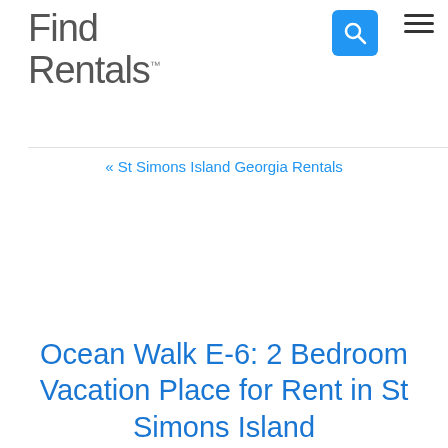Find Rentals
« St Simons Island Georgia Rentals
Ocean Walk E-6: 2 Bedroom Vacation Place for Rent in St Simons Island